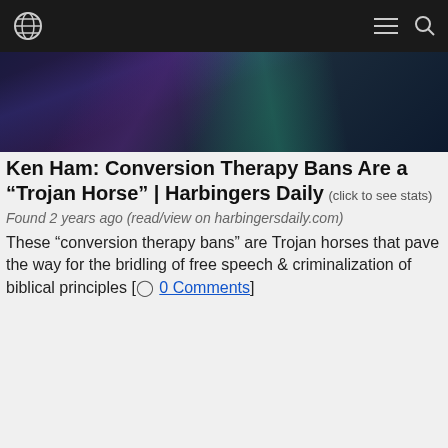Navigation header with globe icon, hamburger menu, and search icon
[Figure (photo): Dark abstract image with purple, blue, and teal geometric shapes/lighting on dark background]
Ken Ham: Conversion Therapy Bans Are a “Trojan Horse” | Harbingers Daily (click to see stats)
Found 2 years ago (read/view on harbingersdaily.com)
These “conversion therapy bans” are Trojan horses that pave the way for the bridling of free speech & criminalization of biblical principles [○ 0 Comments]